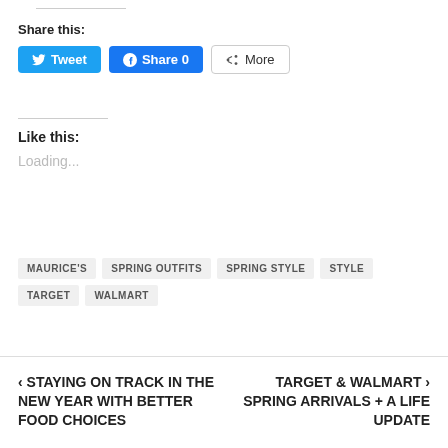Share this:
Tweet  Share 0  More
Like this:
Loading...
MAURICE'S
SPRING OUTFITS
SPRING STYLE
STYLE
TARGET
WALMART
< STAYING ON TRACK IN THE NEW YEAR WITH BETTER FOOD CHOICES
TARGET & WALMART > SPRING ARRIVALS + A LIFE UPDATE